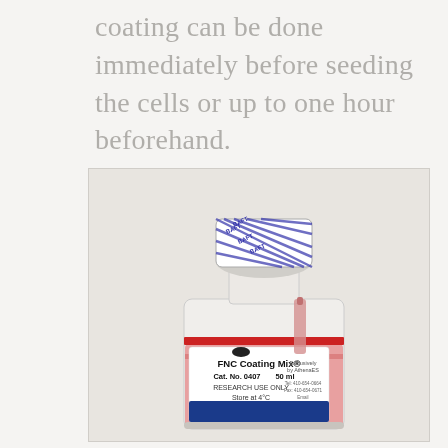coating can be done immediately before seeding the cells or up to one hour beforehand.
[Figure (photo): A bottle of FNC Coating Mix® (Cat. No. 0407, 50 ml, Research Use Only, Store at 4°C) with a blue and white BAFT-labeled cap seal, containing a pinkish-red liquid reagent.]